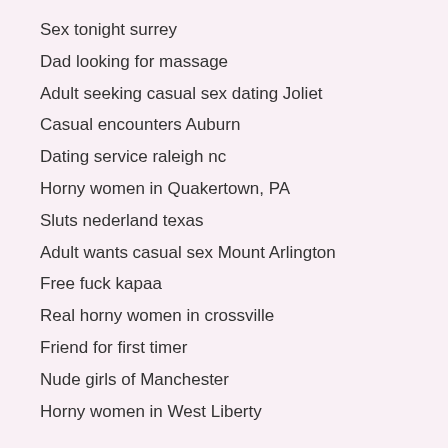Sex tonight surrey
Dad looking for massage
Adult seeking casual sex dating Joliet
Casual encounters Auburn
Dating service raleigh nc
Horny women in Quakertown, PA
Sluts nederland texas
Adult wants casual sex Mount Arlington
Free fuck kapaa
Real horny women in crossville
Friend for first timer
Nude girls of Manchester
Horny women in West Liberty